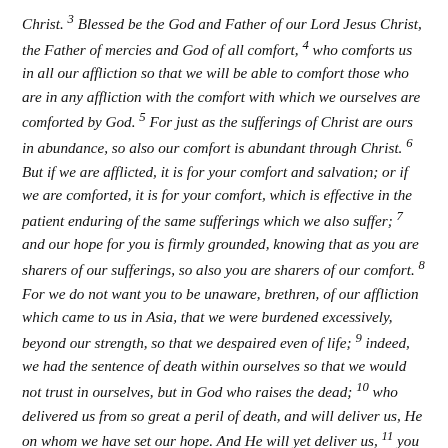Christ. 3 Blessed be the God and Father of our Lord Jesus Christ, the Father of mercies and God of all comfort, 4 who comforts us in all our affliction so that we will be able to comfort those who are in any affliction with the comfort with which we ourselves are comforted by God. 5 For just as the sufferings of Christ are ours in abundance, so also our comfort is abundant through Christ. 6 But if we are afflicted, it is for your comfort and salvation; or if we are comforted, it is for your comfort, which is effective in the patient enduring of the same sufferings which we also suffer; 7 and our hope for you is firmly grounded, knowing that as you are sharers of our sufferings, so also you are sharers of our comfort. 8 For we do not want you to be unaware, brethren, of our affliction which came to us in Asia, that we were burdened excessively, beyond our strength, so that we despaired even of life; 9 indeed, we had the sentence of death within ourselves so that we would not trust in ourselves, but in God who raises the dead; 10 who delivered us from so great a peril of death, and will deliver us, He on whom we have set our hope. And He will yet deliver us, 11 you also joining in helping us through your prayers, so that thanks may be given by